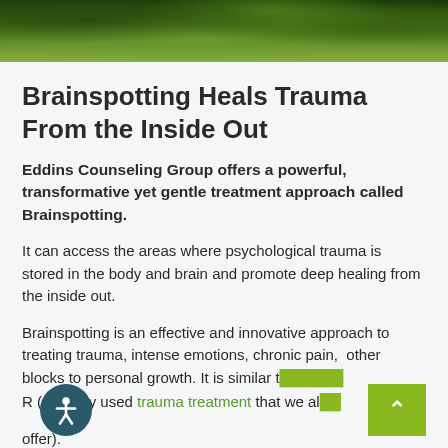[Figure (photo): Green tree canopy photo banner at top of page]
Brainspotting Heals Trauma From the Inside Out
Eddins Counseling Group offers a powerful, transformative yet gentle treatment approach called Brainspotting.
It can access the areas where psychological trauma is stored in the body and brain and promote deep healing from the inside out.
Brainspotting is an effective and innovative approach to treating trauma, intense emotions, chronic pain, other blocks to personal growth. It is similar t... (a widely used trauma treatment that we al... offer).